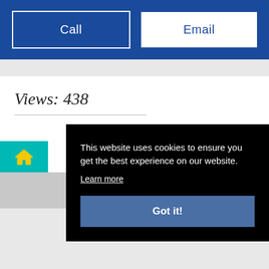Call
Email
Views: 438
This website uses cookies to ensure you get the best experience on our website.
Learn more
Got it!